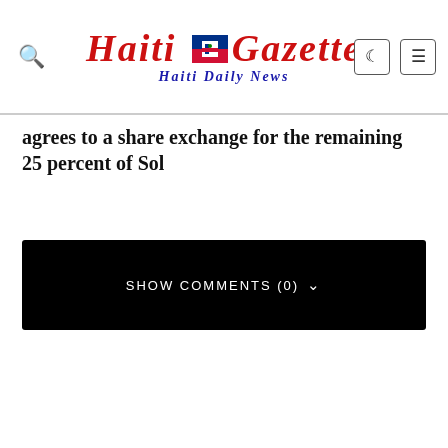Haiti Gazette — Haiti Daily News
agrees to a share exchange for the remaining 25 percent of Sol
[Figure (other): Black bar with SHOW COMMENTS (0) text and chevron dropdown icon]